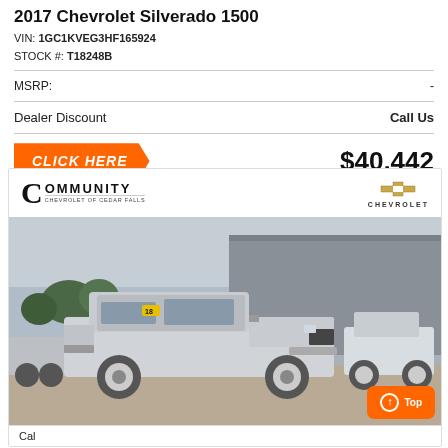2017 Chevrolet Silverado 1500
VIN: 1GC1KVEG3HF165924
STOCK #: T18248B
|  |  |
| --- | --- |
| MSRP: | - |
| Dealer Discount | Call Us |
CLICK HERE   $40,442
[Figure (photo): Community Chevrolet of Cedar Falls dealership logo with Chevrolet bowtie logo]
[Figure (photo): 2017 Chevrolet Silverado 1500 silver truck parked at Community Chevrolet of Cedar Falls dealership lot]
Cal...